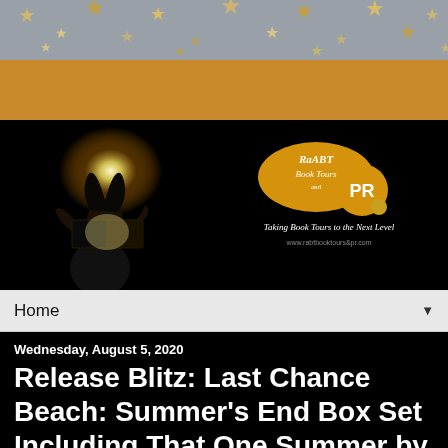[Figure (illustration): Top decorative banner with gold/yellow stars on grey background]
[Figure (illustration): Orange horizontal bar below star banner]
[Figure (illustration): Black header banner: left side shows silhouette of woman reading book with glowing light; right side shows RABT Book Tours PR logo with text 'Taking Book Tours to the Next Level' and website URL]
Home ▼
Wednesday, August 5, 2020
Release Blitz: Last Chance Beach: Summer's End Box Set Including That One Summer by @maddiejames #promo #releaseday #giveaway #romance #kindleunlimited #rabtbooktours